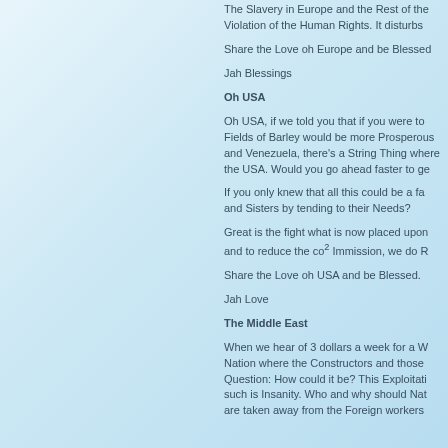The Slavery in Europe and the Rest of the Violation of the Human Rights. It disturbs
Share the Love oh Europe and be Blessed
Jah Blessings
Oh USA
Oh USA, if we told you that if you were to Fields of Barley would be more Prosperous and Venezuela, there's a String Thing where the USA. Would you go ahead faster to ge
If you only knew that all this could be a fa and Sisters by tending to their Needs?
Great is the fight what is now placed upon and to reduce the co² Immission, we do R
Share the Love oh USA and be Blessed.
Jah Love
The Middle East
When we hear of 3 dollars a week for a W Nation where the Constructors and those Question: How could it be? This Exploitati such is Insanity. Who and why should Na are taken away from the Foreign workers